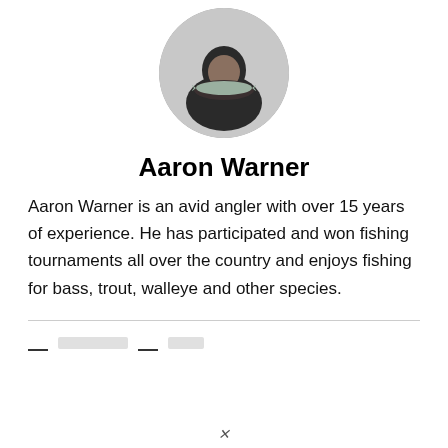[Figure (photo): Circular profile photo of a person holding a large fish, wearing a dark jacket, outdoors with a grey background.]
Aaron Warner
Aaron Warner is an avid angler with over 15 years of experience. He has participated and won fishing tournaments all over the country and enjoys fishing for bass, trout, walleye and other species.